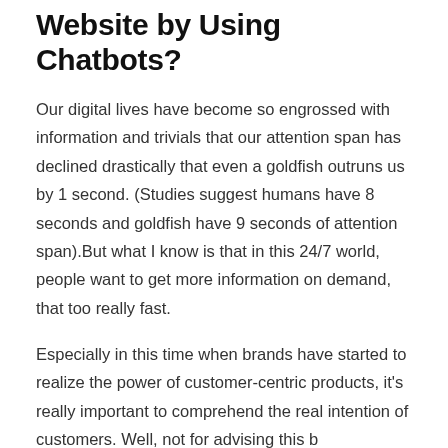Website by Using Chatbots?
Our digital lives have become so engrossed with information and trivials that our attention span has declined drastically that even a goldfish outruns us by 1 second. (Studies suggest humans have 8 seconds and goldfish have 9 seconds of attention span).But what I know is that in this 24/7 world, people want to get more information on demand, that too really fast.
Especially in this time when brands have started to realize the power of customer-centric products, it's really important to comprehend the real intention of customers. Well, not for advising this b...